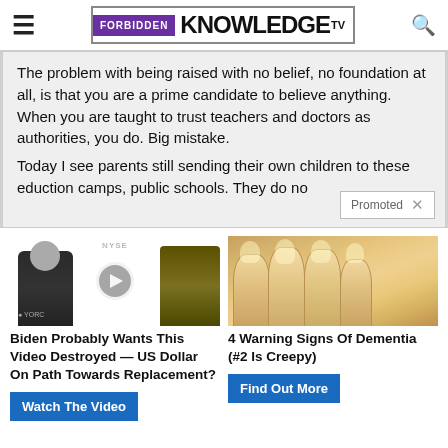FORBIDDEN KNOWLEDGE TV
The problem with being raised with no belief, no foundation at all, is that you are a prime candidate to believe anything. When you are taught to trust teachers and doctors as authorities, you do. Big mistake.
Today I see parents still sending their own children to these eduction camps, public schools. They do no...
[Figure (screenshot): Promoted ad thumbnail: video interview at NYSE studio]
[Figure (photo): Promoted ad thumbnail: close-up of fingernails]
Biden Probably Wants This Video Destroyed — US Dollar On Path Towards Replacement?
4 Warning Signs Of Dementia (#2 Is Creepy)
Watch The Video
Find Out More